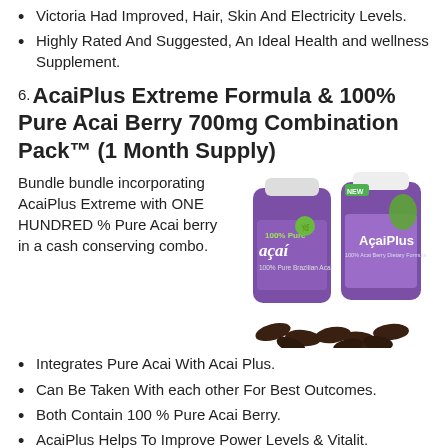Victoria Had Improved, Hair, Skin And Electricity Levels.
Highly Rated And Suggested, An Ideal Health and wellness Supplement.
6. AcaiPlus Extreme Formula & 100% Pure Acai Berry 700mg Combination Pack™ (1 Month Supply)
Bundle bundle incorporating AcaiPlus Extreme with ONE HUNDRED % Pure Acai berry in a cash conserving combo.
[Figure (photo): Two purple supplement bottles - one labeled '100% Pure acai' and one labeled 'AcaiPlus', with capsules scattered in front]
Integrates Pure Acai With Acai Plus.
Can Be Taken With each other For Best Outcomes.
Both Contain 100 % Pure Acai Berry.
AcaiPlus Helps To Improve Power Levels & Vitalit.